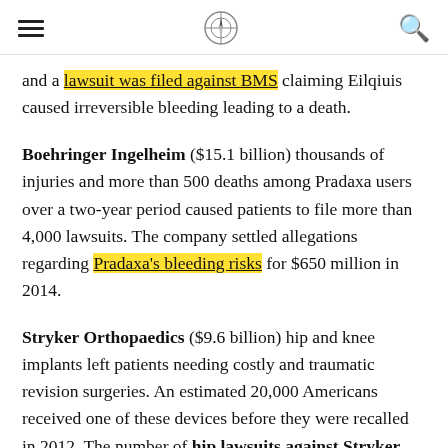[ hamburger menu ] [ compass logo ] [ search ]
and a lawsuit was filed against BMS claiming Eilqiuis caused irreversible bleeding leading to a death.
Boehringer Ingelheim ($15.1 billion) thousands of injuries and more than 500 deaths among Pradaxa users over a two-year period caused patients to file more than 4,000 lawsuits. The company settled allegations regarding Pradaxa's bleeding risks for $650 million in 2014.
Stryker Orthopaedics ($9.6 billion) hip and knee implants left patients needing costly and traumatic revision surgeries. An estimated 20,000 Americans received one of these devices before they were recalled in 2012. The number of hip lawsuits against Stryker continues to grow.